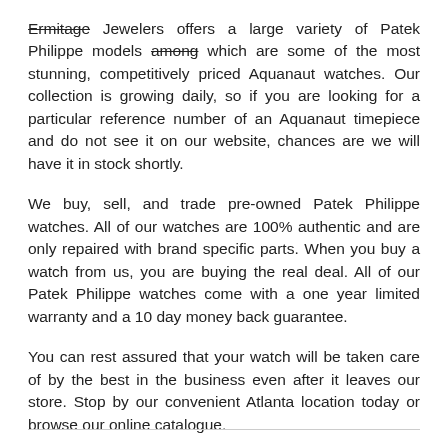Ermitage Jewelers offers a large variety of Patek Philippe models among which are some of the most stunning, competitively priced Aquanaut watches. Our collection is growing daily, so if you are looking for a particular reference number of an Aquanaut timepiece and do not see it on our website, chances are we will have it in stock shortly.
We buy, sell, and trade pre-owned Patek Philippe watches. All of our watches are 100% authentic and are only repaired with brand specific parts. When you buy a watch from us, you are buying the real deal. All of our Patek Philippe watches come with a one year limited warranty and a 10 day money back guarantee.
You can rest assured that your watch will be taken care of by the best in the business even after it leaves our store. Stop by our convenient Atlanta location today or browse our online catalogue.